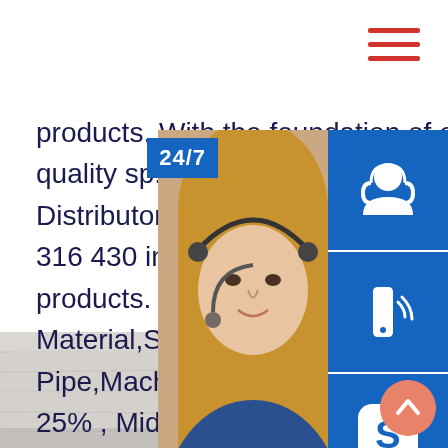products. With the foundation of our excellent management, quality sp.info Inox Plate Products Supplier, Distributor Good quality cold rolled stainle... 316 430 inox 6mm plate best selling stainl... products. Country/Region:China. Main Prod... Material,Stainless Steel,Building Material,S... Pipe,Machinery Equipment. Top 3 Markets: 25% , Mid East 12% , South Asia 12%. Tag...
[Figure (photo): Customer service representative photo with headset, blue icon buttons for support/call/skype on right, 24/7 label, PROVIDE/Empowering Customers text, online live button]
[Figure (photo): Bottom section showing a light grey/white textured surface (metal or stone material)]